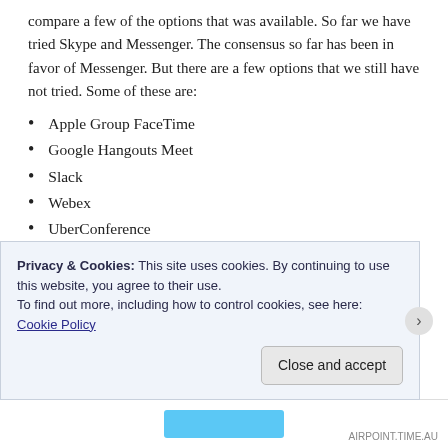compare a few of the options that was available. So far we have tried Skype and Messenger. The consensus so far has been in favor of Messenger. But there are a few options that we still have not tried. Some of these are:
Apple Group FaceTime
Google Hangouts Meet
Slack
Webex
UberConference
Zoom
The first 3 are from me, which is why they are at the top,
Privacy & Cookies: This site uses cookies. By continuing to use this website, you agree to their use.
To find out more, including how to control cookies, see here:
Cookie Policy